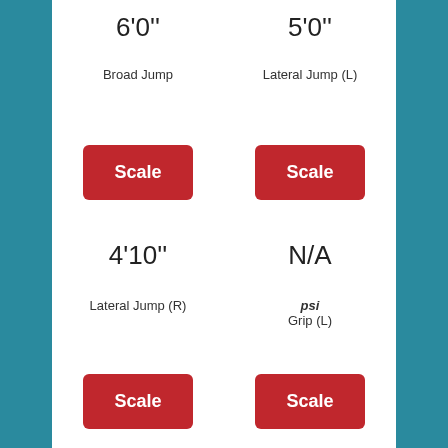6'0''
5'0''
Broad Jump
Lateral Jump (L)
Scale
Scale
4'10''
N/A
Lateral Jump (R)
psi
Grip (L)
Scale
Scale